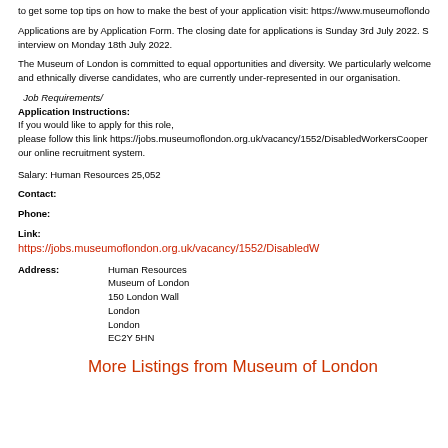to get some top tips on how to make the best of your application visit: https://www.museumoflondo
Applications are by Application Form. The closing date for applications is Sunday 3rd July 2022. S interview on Monday 18th July 2022.
The Museum of London is committed to equal opportunities and diversity. We particularly welcome and ethnically diverse candidates, who are currently under-represented in our organisation.
Job Requirements/ Application Instructions:
If you would like to apply for this role, please follow this link https://jobs.museumoflondon.org.uk/vacancy/1552/DisabledWorkersCooper our online recruitment system.
Salary: Human Resources 25,052
Contact:
Phone:
Link: https://jobs.museumoflondon.org.uk/vacancy/1552/DisabledW
Address: Human Resources Museum of London 150 London Wall London London EC2Y 5HN
More Listings from Museum of London